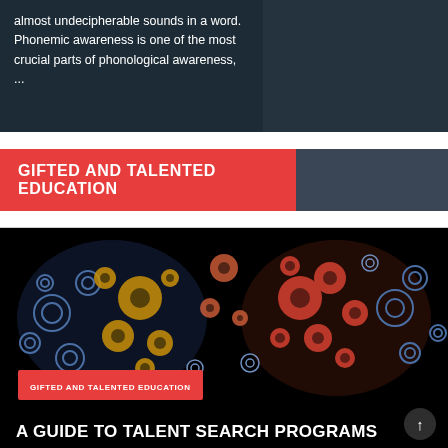[Figure (photo): Dark background image with text overlay about phonemic awareness, partially visible at top of page]
almost undecipherable sounds in a word. Phonemic awareness is one of the most crucial parts of phonological awareness, ...
GIFTED AND TALENTED EDUCATION
[Figure (photo): Dark image showing colorful gears arranged in the shape of two human head profiles (one blue/left, one orange-red/right) against a black background, representing gifted and talented education]
GIFTED AND TALENTED EDUCATION
A GUIDE TO TALENT SEARCH PROGRAMS